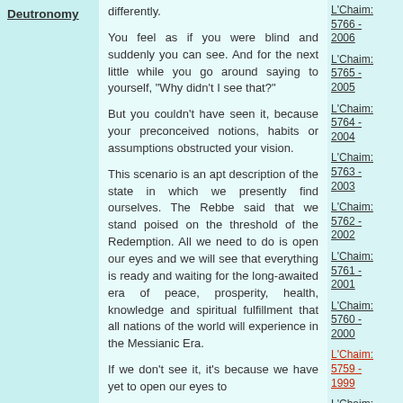Deutronomy
differently.
You feel as if you were blind and suddenly you can see. And for the next little while you go around saying to yourself, "Why didn't I see that?"
But you couldn't have seen it, because your preconceived notions, habits or assumptions obstructed your vision.
This scenario is an apt description of the state in which we presently find ourselves. The Rebbe said that we stand poised on the threshold of the Redemption. All we need to do is open our eyes and we will see that everything is ready and waiting for the long-awaited era of peace, prosperity, health, knowledge and spiritual fulfillment that all nations of the world will experience in the Messianic Era.
If we don't see it, it's because we have yet to open our eyes to
L'Chaim: 5766 - 2006
L'Chaim: 5765 - 2005
L'Chaim: 5764 - 2004
L'Chaim: 5763 - 2003
L'Chaim: 5762 - 2002
L'Chaim: 5761 - 2001
L'Chaim: 5760 - 2000
L'Chaim: 5759 - 1999
L'Chaim: 5758 - 1998
L'Chaim: 5757 - 1997